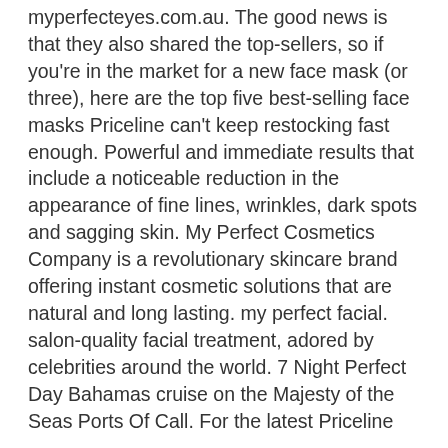myperfecteyes.com.au. The good news is that they also shared the top-sellers, so if you're in the market for a new face mask (or three), here are the top five best-selling face masks Priceline can't keep restocking fast enough. Powerful and immediate results that include a noticeable reduction in the appearance of fine lines, wrinkles, dark spots and sagging skin. My Perfect Cosmetics Company is a revolutionary skincare brand offering instant cosmetic solutions that are natural and long lasting. my perfect facial. salon-quality facial treatment, adored by celebrities around the world. 7 Night Perfect Day Bahamas cruise on the Majesty of the Seas Ports Of Call. For the latest Priceline